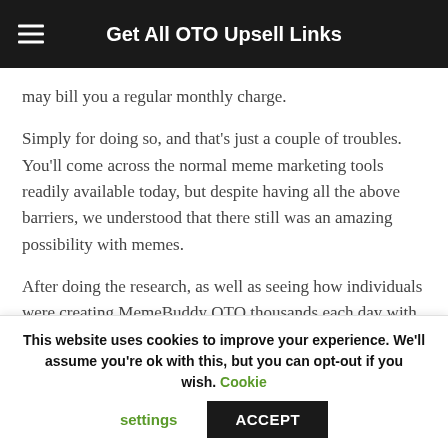Get All OTO Upsell Links
may bill you a regular monthly charge.
Simply for doing so, and that's just a couple of troubles. You'll come across the normal meme marketing tools readily available today, but despite having all the above barriers, we understood that there still was an amazing possibility with memes.
After doing the research, as well as seeing how individuals were creating MemeBuddy OTO thousands each day with memes for their own service or by using mean development and advertising and marketing as a service, we knew we
This website uses cookies to improve your experience. We'll assume you're ok with this, but you can opt-out if you wish. Cookie settings ACCEPT